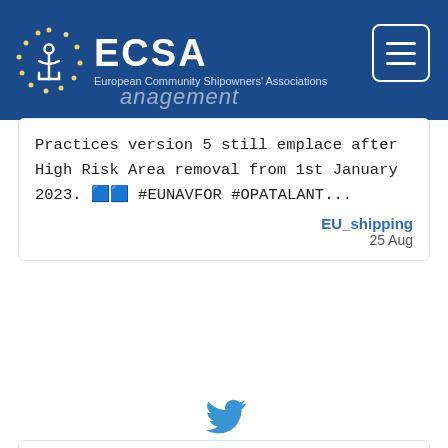[Figure (logo): ECSA European Community Shipowners' Associations logo with navigation hamburger icon on blue header bar]
Practices version 5 still emplace after High Risk Area removal from 1st January 2023. 🟦🟦 #EUNAVFOR #OPATALANT...
EU_shipping
25 Aug
[Figure (illustration): Twitter bird icon in blue]
RT @sotirisraptis: Well said that money from #ETS must return to #shipping and uptake of cleaner fuels would be easier if price gap is redu...
EU_shipping
24 Aug
[Figure (illustration): Twitter bird icon in blue (partially visible at bottom)]